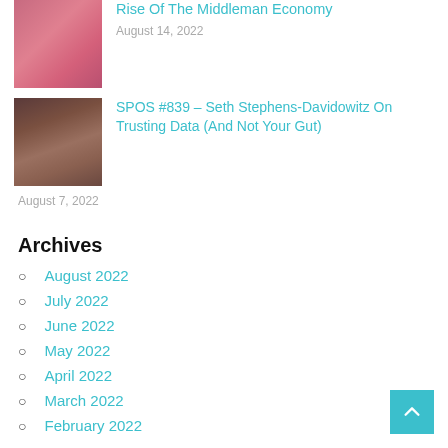[Figure (photo): Portrait photo of a woman with red/pink patterned top]
Rise Of The Middleman Economy
August 14, 2022
[Figure (photo): Portrait photo of a man with dark beard and hair]
SPOS #839 – Seth Stephens-Davidowitz On Trusting Data (And Not Your Gut)
August 7, 2022
Archives
August 2022
July 2022
June 2022
May 2022
April 2022
March 2022
February 2022